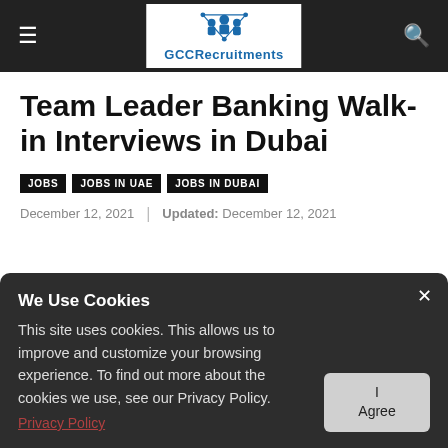GCCRecruitments
Team Leader Banking Walk-in Interviews in Dubai
JOBS
JOBS IN UAE
JOBS IN DUBAI
December 12, 2021 | Updated: December 12, 2021
We Use Cookies
This site uses cookies. This allows us to improve and customize your browsing experience. To find out more about the cookies we use, see our Privacy Policy.
Privacy Policy